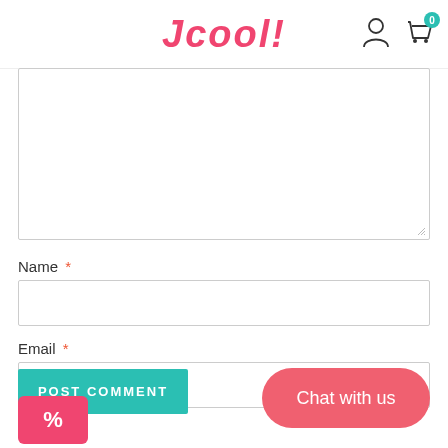JCOOL!
[Figure (screenshot): Comment text area input box, partially visible, with resize handle at bottom right]
Name *
[Figure (screenshot): Name input text field, empty]
Email *
[Figure (screenshot): Email input text field, empty]
[Figure (screenshot): POST COMMENT button (teal/green), discount percent button (pink/red), and Chat with us button (pink/red rounded)]